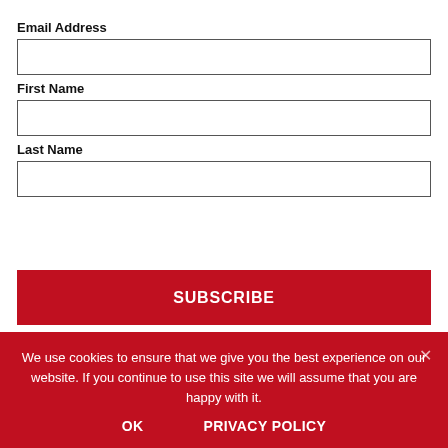Email Address
First Name
Last Name
SUBSCRIBE
l...............t (500)
We use cookies to ensure that we give you the best experience on our website. If you continue to use this site we will assume that you are happy with it.
OK
PRIVACY POLICY